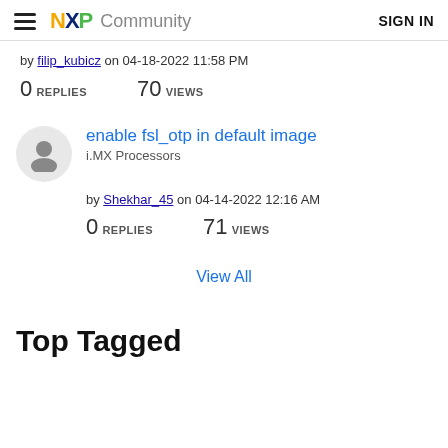NXP Community  SIGN IN
by filip_kubicz on 04-18-2022 11:58 PM
0 REPLIES   70 VIEWS
enable fsl_otp in default image
i.MX Processors
by Shekhar_45 on 04-14-2022 12:16 AM
0 REPLIES   71 VIEWS
View All
Top Tagged